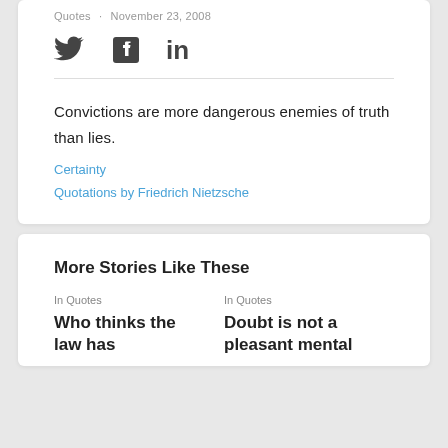Quotes · November 23, 2008
[Figure (other): Social media sharing icons: Twitter bird, Facebook F, LinkedIn in]
Convictions are more dangerous enemies of truth than lies.
Certainty
Quotations by Friedrich Nietzsche
More Stories Like These
In Quotes
Who thinks the law has
In Quotes
Doubt is not a pleasant mental